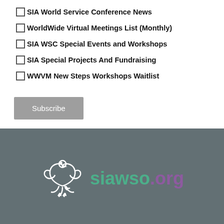SIA World Service Conference News
WorldWide Virtual Meetings List (Monthly)
SIA WSC Special Events and Workshops
SIA Special Projects And Fundraising
WWVM New Steps Workshops Waitlist
Subscribe
[Figure (logo): siawso.org logo with white dove icon on grey background]
© 2022 Survivors of Incest Anonymous. All Rights Reserved. | Privacy Policy | Terms and Conditions | Cookies